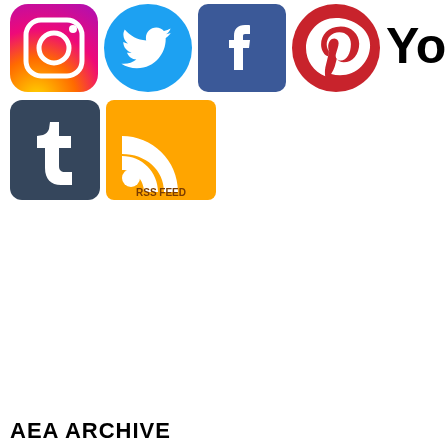[Figure (logo): Social media icons row 1: Instagram, Twitter, Facebook, Pinterest, YouTube]
[Figure (logo): Social media icons row 2: Tumblr, RSS Feed]
AEA ARCHIVE